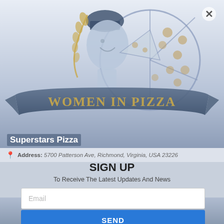[Figure (logo): Women In Pizza logo: illustration of a woman wearing a chef's hat with wheat, eating a pizza slice, with a banner reading WOMEN IN PIZZA, on a blue-grey gradient background]
Superstars Pizza
SIGN UP
To Receive The Latest Updates And News
Address: 5700 Patterson Ave, Richmond, Virginia, USA 23226
Email
SEND